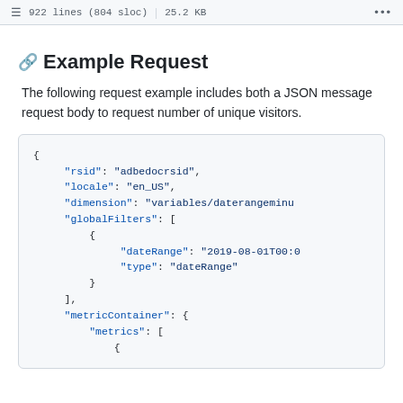922 lines (804 sloc) | 25.2 KB
Example Request
The following request example includes both a JSON message request body to request number of unique visitors.
{
    "rsid": "adbedocrsid",
    "locale": "en_US",
    "dimension": "variables/daterangeminu
    "globalFilters": [
        {
            "dateRange": "2019-08-01T00:0
            "type": "dateRange"
        }
    ],
    "metricContainer": {
        "metrics": [
            {